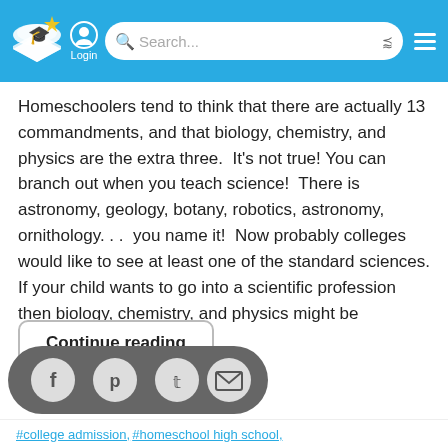Login | Search...
Homeschoolers tend to think that there are actually 13 commandments, and that biology, chemistry, and physics are the extra three.  It’s not true! You can branch out when you teach science!  There is astronomy, geology, botany, robotics, astronomy, ornithology. . .  you name it!  Now probably colleges would like to see at least one of the standard sciences. If your child wants to go into a scientific profession then biology, chemistry, and physics might be important.  But for…
Continue reading
[Figure (infographic): Social sharing pill with Facebook, Pinterest, Twitter, and email icons on a dark rounded background]
#college admission, #homeschool high school,